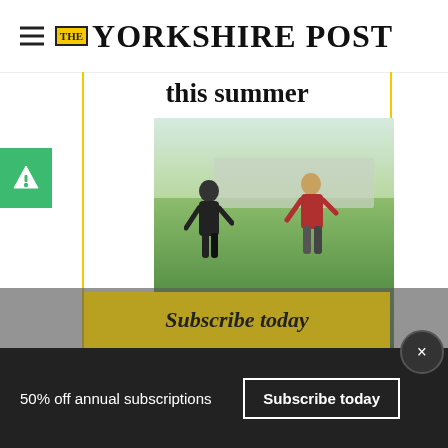THE YORKSHIRE POST
this summer
[Figure (photo): Two people standing among a flock of sheep at an outdoor event, with a search bar overlay reading 'what's on in Yorkshire?']
Subscribe today and get 50% off an annual subscriptions and keep up to date with the latest what's on news with The Yorkshire Post
Subscribe today
50% off annual subscriptions  Subscribe today